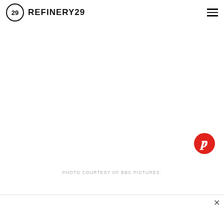REFINERY29
[Figure (photo): Large white/blank image area with a Pinterest share button (red circle with white P icon) in the lower right corner]
PHOTO COURTESY OF BBC PICTURES.